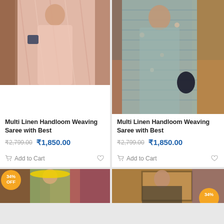[Figure (photo): Woman wearing pink/rose gold linen handloom saree, standing indoors]
Multi Linen Handloom Weaving Saree with Best
₹2,799.00  ₹1,850.00
Add to Cart
[Figure (photo): Woman wearing grey-blue linen handloom saree, standing indoors]
Multi Linen Handloom Weaving Saree with Best
₹2,799.00  ₹1,850.00
Add to Cart
[Figure (photo): Woman wearing green saree with 34% OFF badge, in front of colorful artwork]
[Figure (photo): Woman wearing saree with 34% badge, partial view at bottom right]